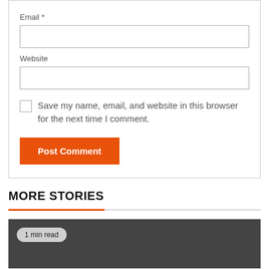Email *
Website
Save my name, email, and website in this browser for the next time I comment.
Post Comment
MORE STORIES
1 min read